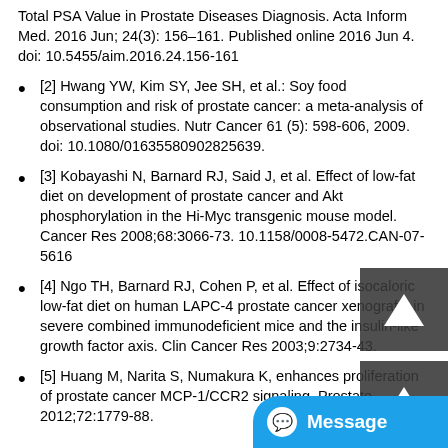Total PSA Value in Prostate Diseases Diagnosis. Acta Inform Med. 2016 Jun; 24(3): 156–161. Published online 2016 Jun 4. doi: 10.5455/aim.2016.24.156-161
[2] Hwang YW, Kim SY, Jee SH, et al.: Soy food consumption and risk of prostate cancer: a meta-analysis of observational studies. Nutr Cancer 61 (5): 598-606, 2009. doi: 10.1080/01635580902825639.
[3] Kobayashi N, Barnard RJ, Said J, et al. Effect of low-fat diet on development of prostate cancer and Akt phosphorylation in the Hi-Myc transgenic mouse model. Cancer Res 2008;68:3066-73. 10.1158/0008-5472.CAN-07-5616
[4] Ngo TH, Barnard RJ, Cohen P, et al. Effect of isocaloric low-fat diet on human LAPC-4 prostate cancer xenografts in severe combined immunodeficient mice and the insulin-like growth factor axis. Clin Cancer Res 2003;9:2734-43.
[5] Huang M, Narita S, Numakura K, ... enhances proliferation of prostate cancer ... MCP-1/CCR2 signaling. Prostate 2012;72:1779-88.